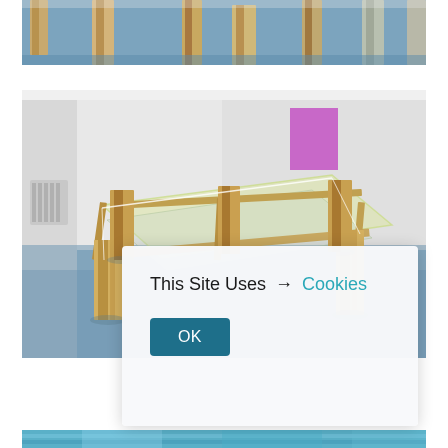[Figure (photo): Top portion of an art installation showing wooden posts/blocks standing upright against a blue-grey background, viewed from above/side angle]
[Figure (photo): Art gallery installation with a wooden and acrylic/glass frame structure resembling a table or platform, with wooden post legs, on a blue-grey floor. A purple/pink artwork hangs on the white wall in the background.]
This Site Uses → Cookies
OK
[Figure (photo): Bottom strip of another photo showing a blurred blue/cyan watery or reflective surface]